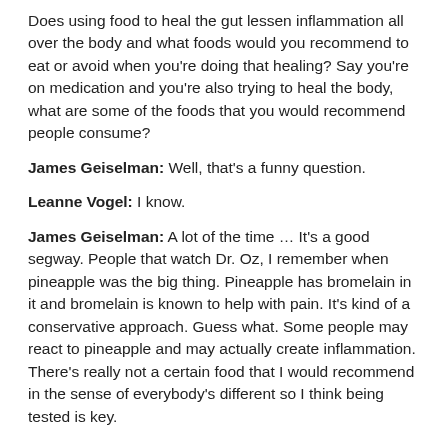Does using food to heal the gut lessen inflammation all over the body and what foods would you recommend to eat or avoid when you're doing that healing? Say you're on medication and you're also trying to heal the body, what are some of the foods that you would recommend people consume?
James Geiselman: Well, that's a funny question.
Leanne Vogel: I know.
James Geiselman: A lot of the time … It's a good segway. People that watch Dr. Oz, I remember when pineapple was the big thing. Pineapple has bromelain in it and bromelain is known to help with pain. It's kind of a conservative approach. Guess what. Some people may react to pineapple and may actually create inflammation. There's really not a certain food that I would recommend in the sense of everybody's different so I think being tested is key.